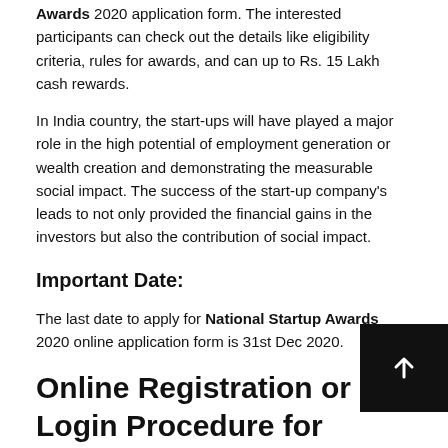Awards 2020 application form. The interested participants can check out the details like eligibility criteria, rules for awards, and can up to Rs. 15 Lakh cash rewards.
In India country, the start-ups will have played a major role in the high potential of employment generation or wealth creation and demonstrating the measurable social impact. The success of the start-up company's leads to not only provided the financial gains in the investors but also the contribution of social impact.
Important Date:
The last date to apply for National Startup Awards 2020 online application form is 31st Dec 2020.
Online Registration or Login Procedure for National Startup Awards 2020
If you're interested to apply for the National Startup Awards 2020,